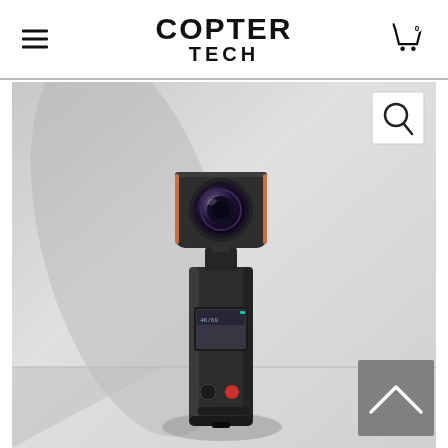COPTER TECH
[Figure (photo): DJI Osmo Pocket 3-axis gimbal camera standing upright on a light gray/white surface with soft shadow, showing the camera lens on top and small LCD screen on the handle body. Product shot with neutral gray gradient background. Search icon button in top-right corner and scroll-up arrow button in bottom-right corner.]